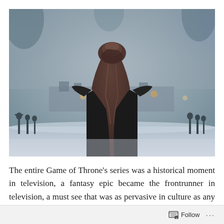[Figure (photo): A person seen from behind with an elaborate braided hairstyle and dark clothing, standing before a misty, smoky battlefield scene with soldiers and torches in the background — a scene from Game of Thrones.]
The entire Game of Throne's series was a historical moment in television, a fantasy epic became the frontrunner in television, a must see that was as pervasive in culture as any show had ever been. And because of its fantastical nature the show was able to present and provide TV moments the likes
Follow ···